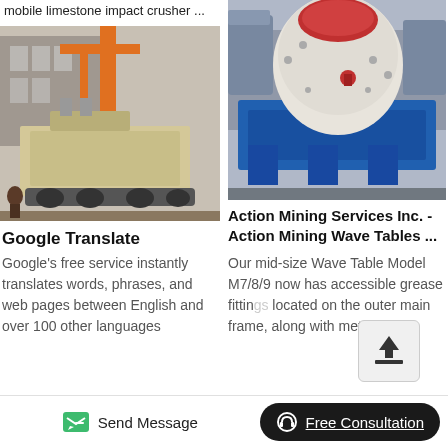mobile limestone impact crusher ...
[Figure (photo): Mobile limestone impact crusher machine on a flatbed — yellow/beige heavy machinery with orange crane structure in background at industrial yard]
Google Translate
Google's free service instantly translates words, phrases, and web pages between English and over 100 other languages
[Figure (photo): Cone crusher / impact crusher machine in blue metal frame, white and red body, at industrial facility]
Action Mining Services Inc. - Action Mining Wave Tables ...
Our mid-size Wave Table Model M7/8/9 now has accessible grease fittings located on the outer main frame, along with metal
Send Message   Free Consultation